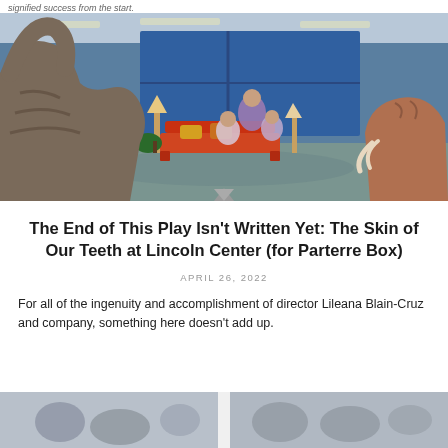signified success from the start.
[Figure (photo): Theater stage scene from The Skin of Our Teeth at Lincoln Center, showing large dinosaur puppet on left, a woolly mammoth puppet on right, colorful sofa with actors in pajamas in center, blue window backdrop on stage]
The End of This Play Isn’t Written Yet: The Skin of Our Teeth at Lincoln Center (for Parterre Box)
APRIL 26, 2022
For all of the ingenuity and accomplishment of director Lileana Blain-Cruz and company, something here doesn’t add up.
[Figure (photo): Partial view of another theater or performance photo at the bottom of the page, showing audience or performers, cut off]